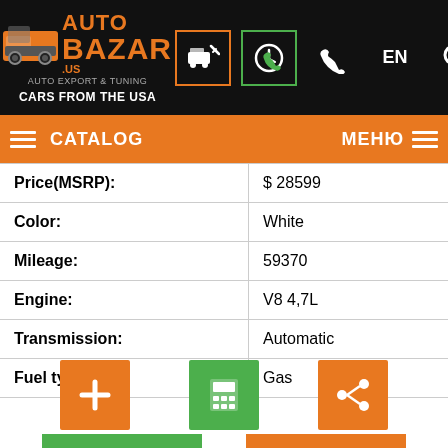AUTO BAZAR US — CARS FROM THE USA
| Field | Value |
| --- | --- |
| Price(MSRP): | $ 28599 |
| Color: | White |
| Mileage: | 59370 |
| Engine: | V8 4,7L |
| Transmission: | Automatic |
| Fuel type: | Gas |